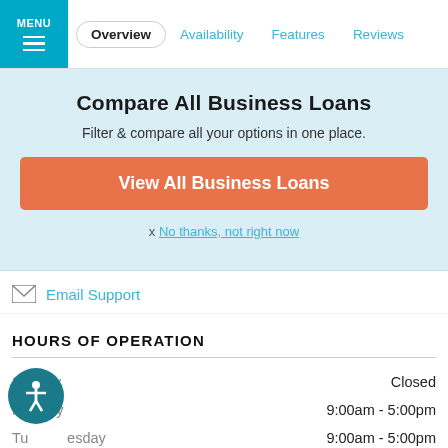MENU | Overview | Availability | Features | Reviews
Compare All Business Loans
Filter & compare all your options in one place.
View All Business Loans
x No thanks, not right now
Email Support
HOURS OF OPERATION
| Day | Hours |
| --- | --- |
| Sunday | Closed |
| Monday | 9:00am - 5:00pm |
| Tuesday | 9:00am - 5:00pm |
| Wednesday | 9:00am - 5:00pm |
| Thursday | 9:00am - 5:00pm |